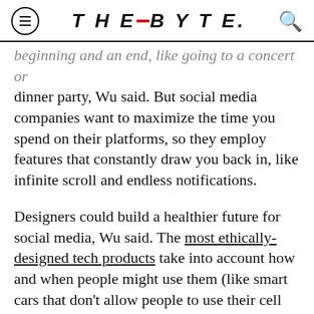THE_BYTE.
beginning and an end, like going to a concert or dinner party, Wu said. But social media companies want to maximize the time you spend on their platforms, so they employ features that constantly draw you back in, like infinite scroll and endless notifications.
Designers could build a healthier future for social media, Wu said. The most ethically-designed tech products take into account how and when people might use them (like smart cars that don't allow people to use their cell phones while driving, according to The Conversation), how they feel when they use them,